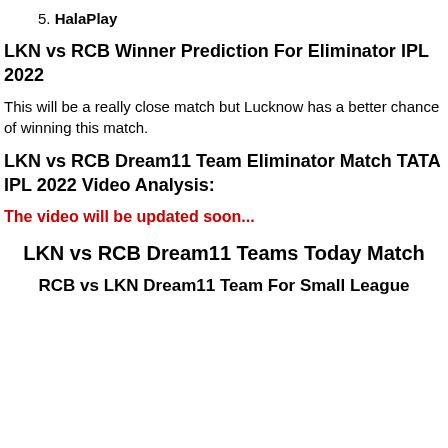5. HalaPlay
LKN vs RCB Winner Prediction For Eliminator IPL 2022
This will be a really close match but Lucknow has a better chance of winning this match.
LKN vs RCB Dream11 Team Eliminator Match TATA IPL 2022 Video Analysis:
The video will be updated soon...
LKN vs RCB Dream11 Teams Today Match
RCB vs LKN Dream11 Team For Small League